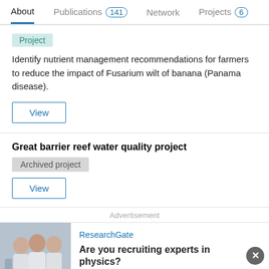About   Publications 141   Network   Projects 6
Project
Identify nutrient management recommendations for farmers to reduce the impact of Fusarium wilt of banana (Panama disease).
View
Great barrier reef water quality project
Archived project
View
Advertisement
ResearchGate
Are you recruiting experts in physics?